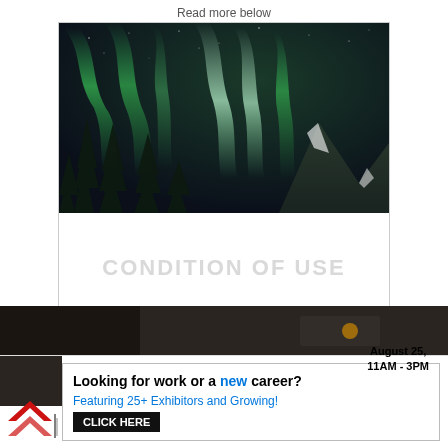Read more below
[Figure (photo): Aurora borealis (northern lights) over a mountainous winter landscape with silhouetted pine trees in the foreground. Green and white light curtains fill the sky.]
Taboola Feed
[Figure (photo): Dark outdoor scene strip at the bottom of page, partially visible]
Looking for work or a new career? Featuring 25+ Exhibitors and Growing! August 25, 11AM - 3PM CLICK HERE